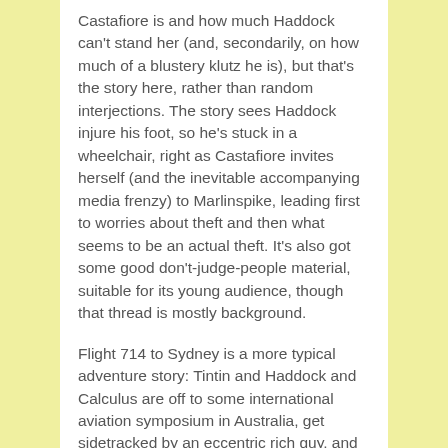Castafiore is and how much Haddock can't stand her (and, secondarily, on how much of a blustery klutz he is), but that's the story here, rather than random interjections. The story sees Haddock injure his foot, so he's stuck in a wheelchair, right as Castafiore invites herself (and the inevitable accompanying media frenzy) to Marlinspike, leading first to worries about theft and then what seems to be an actual theft. It's also got some good don't-judge-people material, suitable for its young audience, though that thread is mostly background.
Flight 714 to Sydney is a more typical adventure story: Tintin and Haddock and Calculus are off to some international aviation symposium in Australia, get sidetracked by an eccentric rich guy, and then a villain strikes. There's a lot of running around with guns after that, mostly serious, and a weird fantastic element that struck me as outside the usual style of the series and